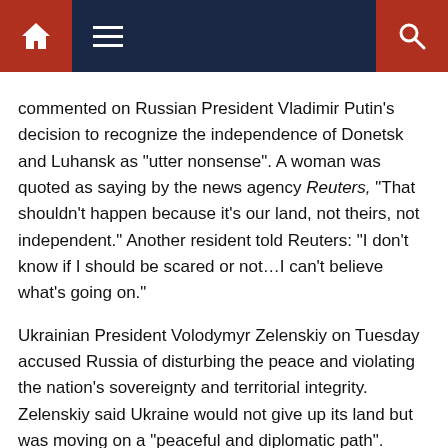Navigation bar with home, menu, and search icons
commented on Russian President Vladimir Putin’s decision to recognize the independence of Donetsk and Luhansk as “utter nonsense”. A woman was quoted as saying by the news agency Reuters, “That shouldn’t happen because it’s our land, not theirs, not independent.” Another resident told Reuters: “I don’t know if I should be scared or not…I can’t believe what’s going on.”
Ukrainian President Volodymyr Zelenskiy on Tuesday accused Russia of disturbing the peace and violating the nation’s sovereignty and territorial integrity. Zelenskiy said Ukraine would not give up its land but was moving on a “peaceful and diplomatic path”.
Putin ordered the deployment of troops to “keep the peace” in the two breakaway regions. An emergency meeting of the UN Security Council was held to deliberate on the